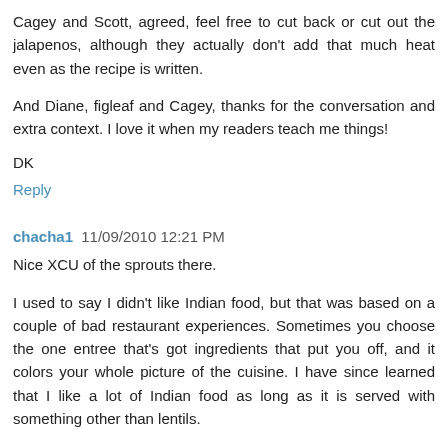Cagey and Scott, agreed, feel free to cut back or cut out the jalapenos, although they actually don't add that much heat even as the recipe is written.
And Diane, figleaf and Cagey, thanks for the conversation and extra context. I love it when my readers teach me things!
DK
Reply
chacha1  11/09/2010 12:21 PM
Nice XCU of the sprouts there.
I used to say I didn't like Indian food, but that was based on a couple of bad restaurant experiences. Sometimes you choose the one entree that's got ingredients that put you off, and it colors your whole picture of the cuisine. I have since learned that I like a lot of Indian food as long as it is served with something other than lentils.